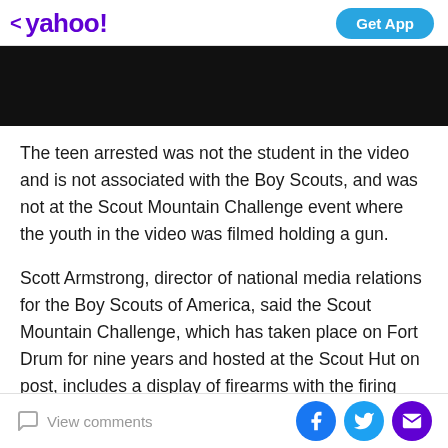< yahoo! | Get App
[Figure (other): Black banner/image area below the Yahoo header]
The teen arrested was not the student in the video and is not associated with the Boy Scouts, and was not at the Scout Mountain Challenge event where the youth in the video was filmed holding a gun.
Scott Armstrong, director of national media relations for the Boy Scouts of America, said the Scout Mountain Challenge, which has taken place on Fort Drum for nine years and hosted at the Scout Hut on post, includes a display of firearms with the firing pins removed with supervision of active-duty military personnel.
View comments | Facebook | Twitter | Email